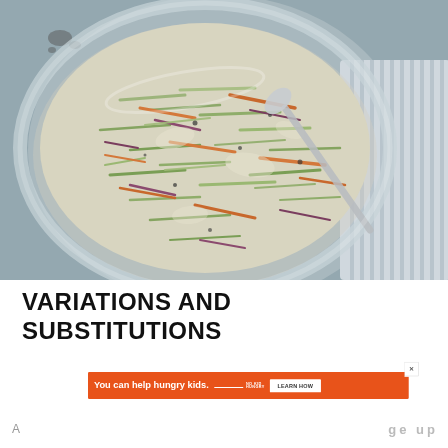[Figure (photo): Overhead view of a large glass bowl filled with creamy coleslaw (shredded cabbage, carrots, red cabbage) with a metal spoon, on a blue-gray surface with a striped cloth napkin to the right.]
VARIATIONS AND SUBSTITUTIONS
[Figure (other): Orange advertisement banner reading 'You can help hungry kids.' with No Kid Hungry fork logo and a 'LEARN HOW' button, with a close (X) button top right.]
A ... ge up